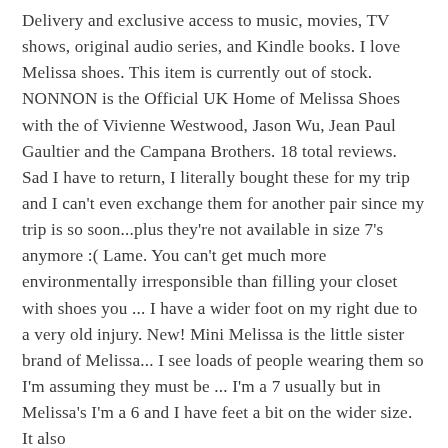Delivery and exclusive access to music, movies, TV shows, original audio series, and Kindle books. I love Melissa shoes. This item is currently out of stock. NONNON is the Official UK Home of Melissa Shoes with the of Vivienne Westwood, Jason Wu, Jean Paul Gaultier and the Campana Brothers. 18 total reviews. Sad I have to return, I literally bought these for my trip and I can't even exchange them for another pair since my trip is so soon...plus they're not available in size 7's anymore :( Lame. You can't get much more environmentally irresponsible than filling your closet with shoes you ... I have a wider foot on my right due to a very old injury. New! Mini Melissa is the little sister brand of Melissa... I see loads of people wearing them so I'm assuming they must be ... I'm a 7 usually but in Melissa's I'm a 6 and I have feet a bit on the wider size. It also